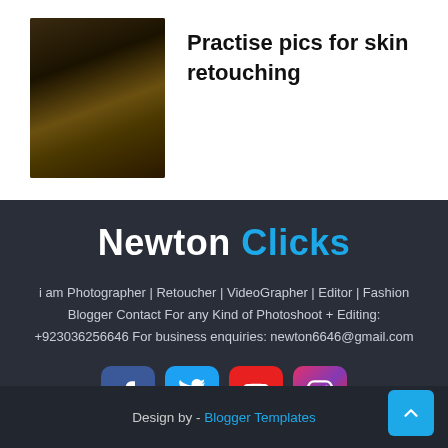[Figure (photo): Thumbnail photo of a bearded man in dark hoodie with blue lighting]
Practise pics for skin retouching
Newton Clicks
i am Photographer | Retoucher | VideoGrapher | Editor | Fashion Blogger Contact For any Kind of Photoshoot + Editing: +923036256646 For business enquiries: newton6646@gmail.com
[Figure (infographic): Social media icons: Facebook, Twitter, YouTube, Instagram]
Design by - Blogger Templates